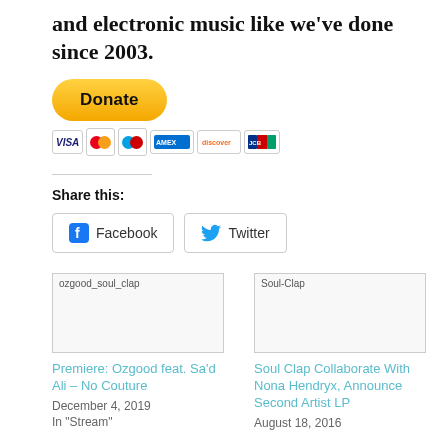and electronic music like we've done since 2003.
[Figure (other): PayPal Donate button and payment card icons (Visa, Mastercard, Maestro, American Express, Discover, JCB)]
Share this:
[Figure (other): Facebook and Twitter share buttons]
[Figure (other): Thumbnail image placeholder for ozgood_soul_clap post]
Premiere: Ozgood feat. Sa'd Ali – No Couture
December 4, 2019
In "Stream"
[Figure (other): Thumbnail image placeholder for Soul-Clap post]
Soul Clap Collaborate With Nona Hendryx, Announce Second Artist LP
August 18, 2016